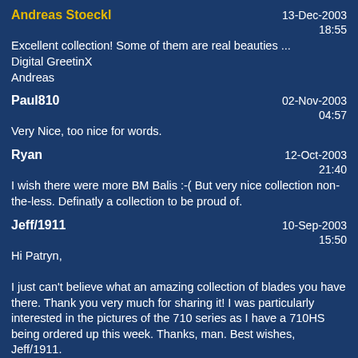Andreas Stoeckl | 13-Dec-2003 18:55
Excellent collection! Some of them are real beauties ...
Digital GreetinX
Andreas
Paul810 | 02-Nov-2003 04:57
Very Nice, too nice for words.
Ryan | 12-Oct-2003 21:40
I wish there were more BM Balis :-( But very nice collection non-the-less. Definatly a collection to be proud of.
Jeff/1911 | 10-Sep-2003 15:50
Hi Patryn,

I just can't believe what an amazing collection of blades you have there. Thank you very much for sharing it! I was particularly interested in the pictures of the 710 series as I have a 710HS being ordered up this week. Thanks, man. Best wishes, Jeff/1911.
Jon (Sabu71) | 11-Jul-2003 06:48
Awesome collection, Patryn !!!! And those photos are top notch, too. Great Job :-)